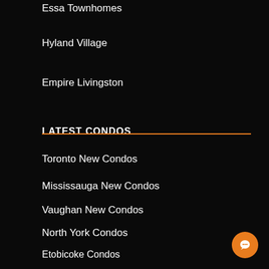Essa Townhomes
Hyland Village
Empire Livingston
LATEST CONDOS
Toronto New Condos
Mississauga New Condos
Vaughan New Condos
North York Condos
Etobicoke Condos
Markham Condos
Scarborough Condos
Richmond Hill Condos